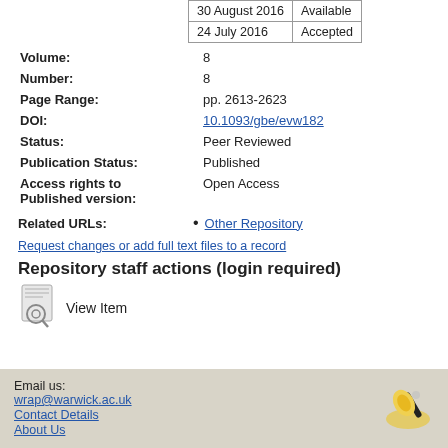| Date | Status |
| --- | --- |
| 30 August 2016 | Available |
| 24 July 2016 | Accepted |
| Field | Value |
| --- | --- |
| Volume: | 8 |
| Number: | 8 |
| Page Range: | pp. 2613-2623 |
| DOI: | 10.1093/gbe/evw182 |
| Status: | Peer Reviewed |
| Publication Status: | Published |
| Access rights to Published version: | Open Access |
Other Repository
Request changes or add full text files to a record
Repository staff actions (login required)
View Item
Email us: wrap@warwick.ac.uk
Contact Details
About Us